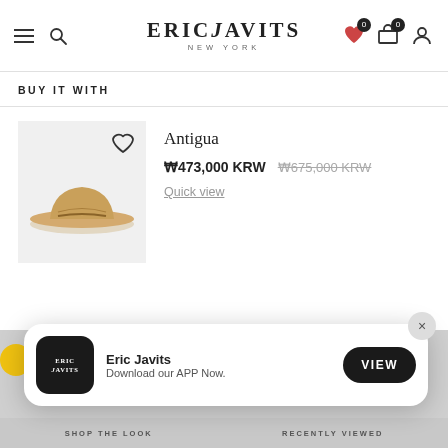Eric Javits New York
BUY IT WITH
[Figure (photo): Antigua straw wide-brim hat on gray background with heart icon]
Antigua
₩473,000 KRW  ₩675,000 KRW (strikethrough)
Quick view
[Figure (screenshot): Eric Javits app download banner: Eric Javits app icon, text 'Eric Javits / Download our APP Now.' and VIEW button]